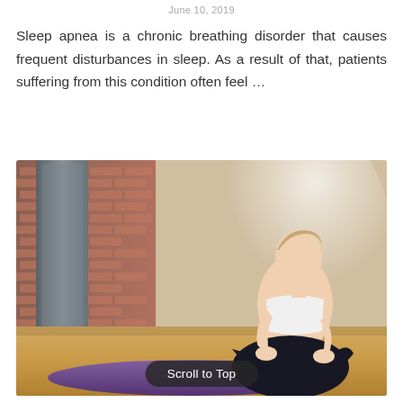June 10, 2019
Sleep apnea is a chronic breathing disorder that causes frequent disturbances in sleep. As a result of that, patients suffering from this condition often feel …
[Figure (photo): A woman in yoga/exercise attire (white sports bra, dark leggings) sitting in a kneeling yoga pose on a purple yoga mat in a studio with brick walls and wooden floor.]
Scroll to Top